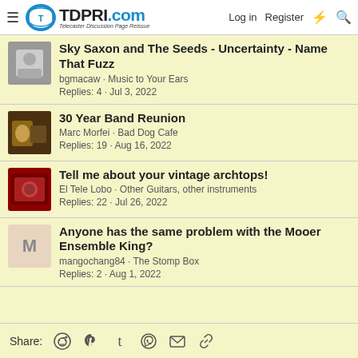TDPRI.com - Telecaster Discussion Page Reissue | Log in | Register
Sky Saxon and The Seeds - Uncertainty - Name That Fuzz | bgmacaw · Music to Your Ears | Replies: 4 · Jul 3, 2022
30 Year Band Reunion | Marc Morfei · Bad Dog Cafe | Replies: 19 · Aug 16, 2022
Tell me about your vintage archtops! | El Tele Lobo · Other Guitars, other instruments | Replies: 22 · Jul 26, 2022
Anyone has the same problem with the Mooer Ensemble King? | mangochang84 · The Stomp Box | Replies: 2 · Aug 1, 2022
Share: